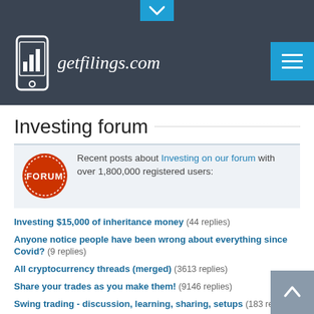[Figure (logo): getfilings.com logo with phone/bar chart icon on dark header background]
Investing forum
Recent posts about Investing on our forum with over 1,800,000 registered users:
Investing $15,000 of inheritance money  (44 replies)
Anyone notice people have been wrong about everything since Covid?  (9 replies)
All cryptocurrency threads (merged)  (3613 replies)
Share your trades as you make them!  (9146 replies)
Swing trading - discussion, learning, sharing, setups  (183 replies)
Long Term Investors - What are you buying or selling